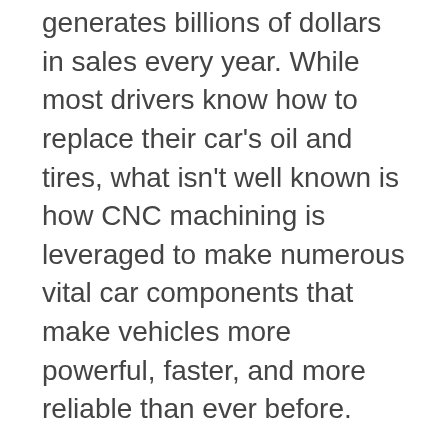generates billions of dollars in sales every year. While most drivers know how to replace their car's oil and tires, what isn't well known is how CNC machining is leveraged to make numerous vital car components that make vehicles more powerful, faster, and more reliable than ever before.
From the time when the first vehicles were introduced to the US market, the automotive manufacturing processes have drastically changed. In the past, most of the assembly work was carried out by hand.